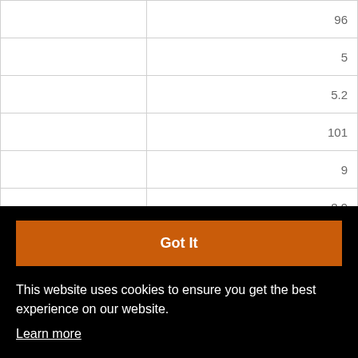|  | 96 |
|  | 5 |
|  | 5.2 |
|  | 101 |
|  | 9 |
|  | 8.9 |
| Baton Rouge |  |
|  | 96 |
|  | 158 |
[Figure (screenshot): Cookie consent overlay with orange 'Got It' button and text: 'This website uses cookies to ensure you get the best experience on our website. Learn more']